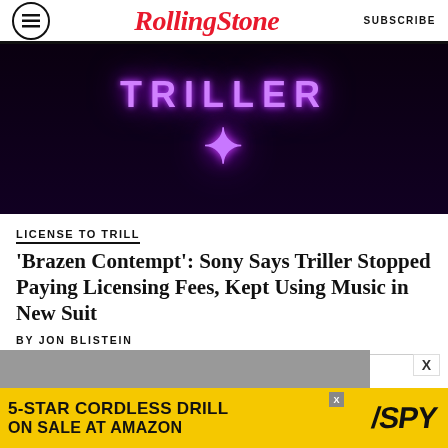RollingStone | SUBSCRIBE
[Figure (photo): Dark background with neon purple glowing text reading 'TRILLER' in stylized neon sign letters]
LICENSE TO TRILL
'Brazen Contempt': Sony Says Triller Stopped Paying Licensing Fees, Kept Using Music in New Suit
BY JON BLISTEIN
[Figure (photo): Partial photo visible at bottom, advertisement banner: 5-STAR CORDLESS DRILL ON SALE AT AMAZON / SPY]